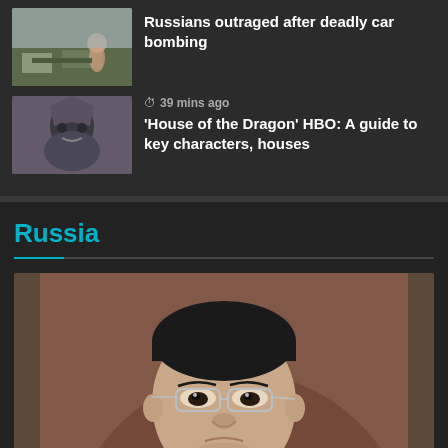[Figure (photo): Thumbnail photo of outdoor scene, bombing aftermath, people visible]
Russians outraged after deadly car bombing
[Figure (photo): Thumbnail photo of a costume or statue resembling a dragon warrior character]
39 mins ago
'House of the Dragon' HBO: A guide to key characters, houses
Russia
[Figure (photo): Large portrait photo of an Asian man in a suit with glasses, looking upward, against a blurred brown background]